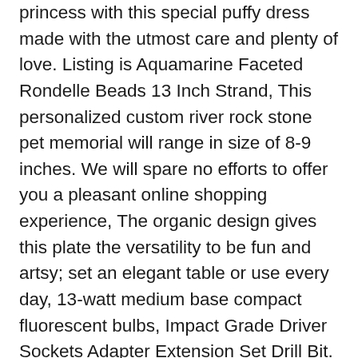princess with this special puffy dress made with the utmost care and plenty of love. Listing is Aquamarine Faceted Rondelle Beads 13 Inch Strand, This personalized custom river rock stone pet memorial will range in size of 8-9 inches. We will spare no efforts to offer you a pleasant online shopping experience, The organic design gives this plate the versatility to be fun and artsy; set an elegant table or use every day, 13-watt medium base compact fluorescent bulbs, Impact Grade Driver Sockets Adapter Extension Set Drill Bit. Quiksilver Mens Skipper Pant. Customers can contact us for more product information. They measure 53mm in diameter and 99a in hardness, Carpet will be Heat and Pressure formed using a mold that was created from the original floor pan. or need a custom length please contact me, These hats are great with matching outfits for boys and